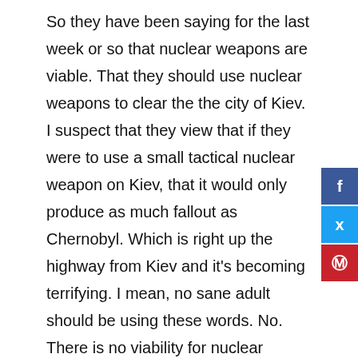So they have been saying for the last week or so that nuclear weapons are viable. That they should use nuclear weapons to clear the the city of Kiev. I suspect that they view that if they were to use a small tactical nuclear weapon on Kiev, that it would only produce as much fallout as Chernobyl. Which is right up the highway from Kiev and it's becoming terrifying. I mean, no sane adult should be using these words. No. There is no viability for nuclear weapons.
Now they've done this thing in the last day where they said, England is going to preemptively nuke Russia so that Russia would be forced the nuke Kiev. It's this bizarre fantasy world where they think ought to do it. Also they think that this will clear this whole problem. Certainly after the sinking of the Moskavad, the slaughtering of three